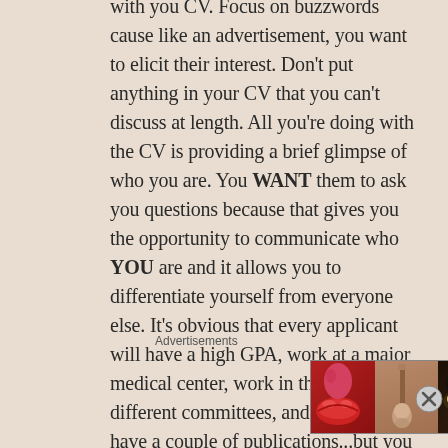with your CV. Focus on buzzwords cause like an advertisement, you want to elicit their interest. Don't put anything in your CV that you can't discuss at length. All you're doing with the CV is providing a brief glimpse of who you are. You WANT them to ask you questions because that gives you the opportunity to communicate who YOU are and it allows you to differentiate yourself from everyone else. It's obvious that every applicant will have a high GPA, work at a major medical center, work in the ICU, be on different committees, and maybe even have a couple of publications...but you want to develop a CV that highlights who you are in a nutshell and gets you into an interview where you'll really be able to show them who you are. Hopefully the CV I've shared in my previous
Advertisements
[Figure (photo): Ulta Beauty advertisement banner showing close-up beauty/makeup images including lips with red lipstick, a makeup brush, eye with heavy lashes, Ulta Beauty logo, another eye with dramatic makeup, and a 'SHOP NOW' call to action on white background.]